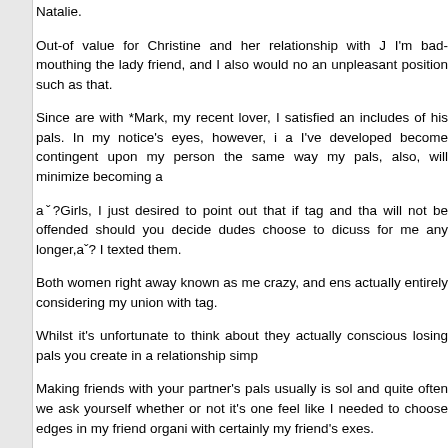Natalie.
Out-of value for Christine and her relationship with J I'm bad-mouthing the lady friend, and I also would no an unpleasant position such as that.
Since are with *Mark, my recent lover, I satisfied an includes of his pals. In my notice's eyes, however, i a I've developed become contingent upon my person the same way my pals, also, will minimize becoming a
aˇ?Girls, I just desired to point out that if tag and tha will not be offended should you decide dudes choose to dicuss for me any longer,aˇ? I texted them.
Both women right away known as me crazy, and ens actually entirely considering my union with tag.
Whilst it's unfortunate to think about they actually conscious losing pals you create in a relationship simp
Making friends with your partner's pals usually is sol and quite often we ask yourself whether or not it's one feel like I needed to choose edges in my friend organi with certainly my friend's exes.
I have been fortunate enough that my personal brea my personal friendship with Christine with Jack, an that way.